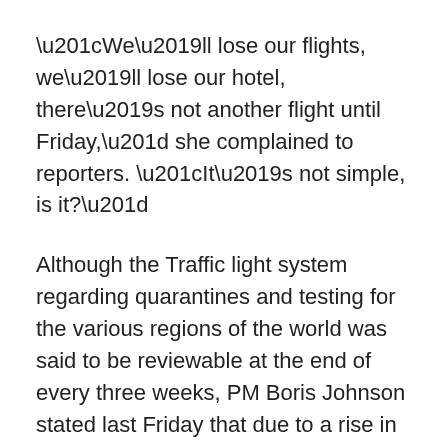“We’ll lose our flights, we’ll lose our hotel, there’s not another flight until Friday,” she complained to reporters. “It’s not simple, is it?”
Although the Traffic light system regarding quarantines and testing for the various regions of the world was said to be reviewable at the end of every three weeks, PM Boris Johnson stated last Friday that due to a rise in the variants which have spread over the world, the new guidelines would be in place for the foreseeable future.
Because of its hugely successful vaccine rollout after notching the highest death rate in the world